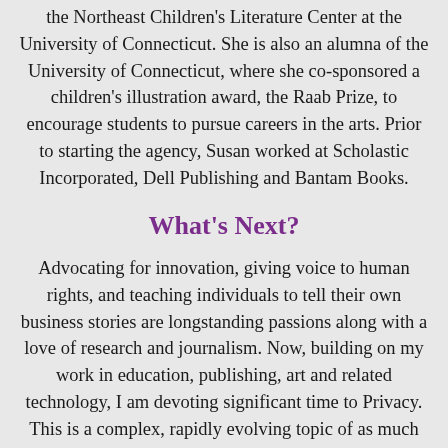the Northeast Children's Literature Center at the University of Connecticut. She is also an alumna of the University of Connecticut, where she co-sponsored a children's illustration award, the Raab Prize, to encourage students to pursue careers in the arts. Prior to starting the agency, Susan worked at Scholastic Incorporated, Dell Publishing and Bantam Books.
What's Next?
Advocating for innovation, giving voice to human rights, and teaching individuals to tell their own business stories are longstanding passions along with a love of research and journalism. Now, building on my work in education, publishing, art and related technology, I am devoting significant time to Privacy. This is a complex, rapidly evolving topic of as much concern to multinational corporations as it is to individual citizens. The decisions we make about